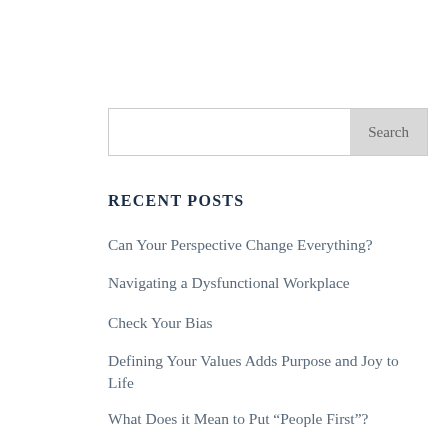Search
RECENT POSTS
Can Your Perspective Change Everything?
Navigating a Dysfunctional Workplace
Check Your Bias
Defining Your Values Adds Purpose and Joy to Life
What Does it Mean to Put “People First”?